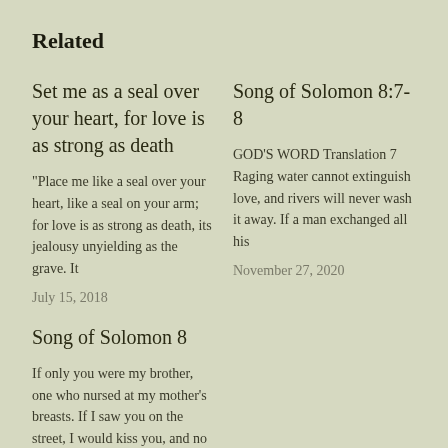Related
Set me as a seal over your heart, for love is as strong as death
"Place me like a seal over your heart, like a seal on your arm; for love is as strong as death, its jealousy unyielding as the grave. It
July 15, 2018
Song of Solomon 8:7-8
GOD'S WORD Translation 7 Raging water cannot extinguish love, and rivers will never wash it away. If a man exchanged all his
November 27, 2020
Song of Solomon 8
If only you were my brother, one who nursed at my mother's breasts. If I saw you on the street, I would kiss you, and no one would look